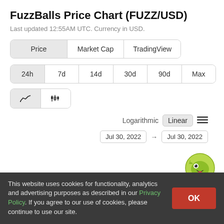FuzzBalls Price Chart (FUZZ/USD)
Last updated 12:55AM UTC. Currency in USD.
[Figure (screenshot): Tab bar with three tabs: Price (active/selected), Market Cap, TradingView]
[Figure (screenshot): Time range selector with options: 24h (active), 7d, 14d, 30d, 90d, Max]
[Figure (screenshot): Chart type buttons: line chart (active), candlestick chart]
[Figure (screenshot): Scale options: Logarithmic, Linear (active/highlighted), hamburger menu icon. Date range: Jul 30, 2022 → Jul 30, 2022]
[Figure (screenshot): CoinGecko gecko logo in lower right corner]
This website uses cookies for functionality, analytics and advertising purposes as described in our Privacy Policy. If you agree to our use of cookies, please continue to use our site.